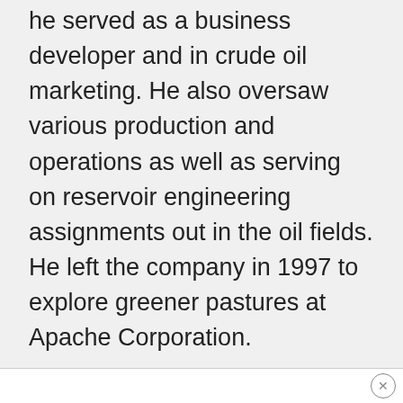he served as a business developer and in crude oil marketing. He also oversaw various production and operations as well as serving on reservoir engineering assignments out in the oil fields. He left the company in 1997 to explore greener pastures at Apache Corporation.